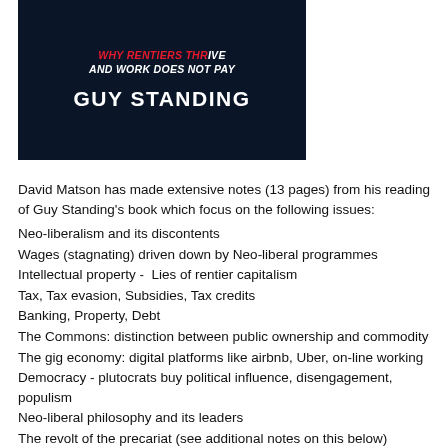[Figure (photo): Book cover with dark navy background showing partial title text 'WHY RENTIERS THR... AND WORK DOES NOT PAY' in red/white and author name 'GUY STANDING' in white bold text]
David Matson has made extensive notes (13 pages) from his reading of Guy Standing's book which focus on the following issues:
Neo-liberalism and its discontents
Wages (stagnating) driven down by Neo-liberal programmes
Intellectual property -  Lies of rentier capitalism
Tax, Tax evasion, Subsidies, Tax credits
Banking, Property, Debt
The Commons: distinction between public ownership and commodity
The gig economy: digital platforms like airbnb, Uber, on-line working
Democracy - plutocrats buy political influence, disengagement, populism
Neo-liberal philosophy and its leaders
The revolt of the precariat (see additional notes on this below)
Measures to enable a decent life in a sustainable world:
end the rentier economy